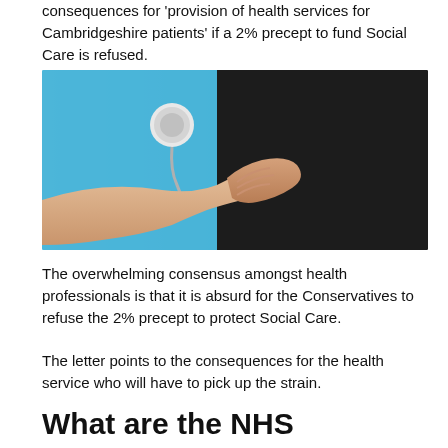consequences for 'provision of health services for Cambridgeshire patients' if a 2% precept to fund Social Care is refused.
[Figure (photo): A healthcare worker in blue scrubs holding the hand of a patient, close-up showing hands and stethoscope.]
The overwhelming consensus amongst health professionals is that it is absurd for the Conservatives to refuse the 2% precept to protect Social Care.
The letter points to the consequences for the health service who will have to pick up the strain.
What are the NHS